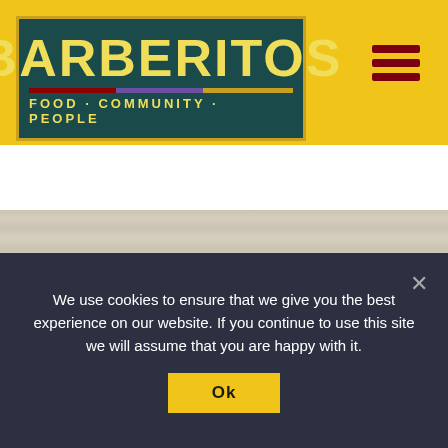[Figure (logo): Barberitos logo — dark teal rectangle with yellow bold text BARBERITOS, colored stripe, and tagline FOOD · COMMUNITY · PEOPLE]
[Figure (photo): Restaurant interior photo strip — dark warm tones]
HOURS
Monday: 11:00 AM – 10:00 PM
Tuesday: 11:00 AM – 10:00 PM
Wednesday: 11:00 AM – 10:00 PM
We use cookies to ensure that we give you the best experience on our website. If you continue to use this site we will assume that you are happy with it.